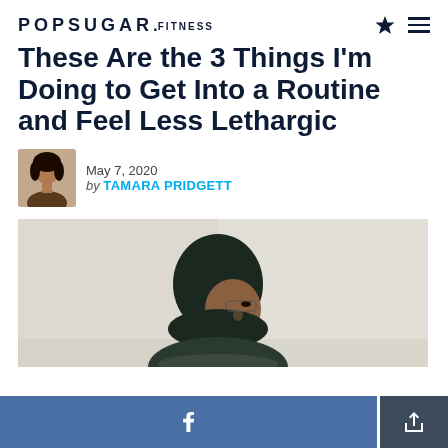POPSUGAR.FITNESS
These Are the 3 Things I'm Doing to Get Into a Routine and Feel Less Lethargic
May 7, 2020
by TAMARA PRIDGETT
[Figure (photo): Portrait photo of a woman wearing a dark hijab, looking downward, against a light beige/grey background]
[Figure (screenshot): Bottom navigation bar with Facebook share button (blue) and a share/export icon button (dark grey)]